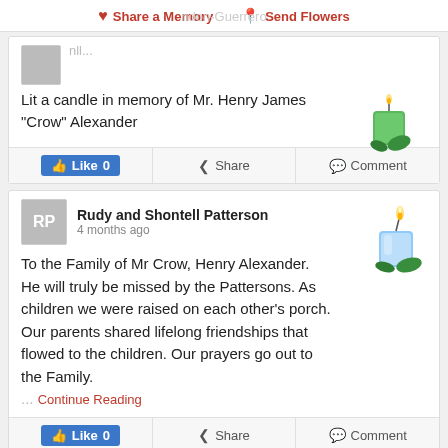Share a Memory  ndon-Guerrero  Send Flowers
Lit a candle in memory of Mr. Henry James "Crow" Alexander
Like 0  Share  Comment
Rudy and Shontell Patterson
4 months ago
To the Family of Mr Crow, Henry Alexander. He will truly be missed by the Pattersons. As children we were raised on each other's porch. Our parents shared lifelong friendships that flowed to the children. Our prayers go out to the Family.
... Continue Reading
Like 0  Share  Comment